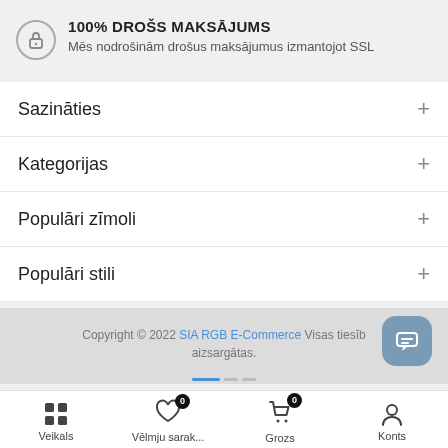100% DROŠS MAKSĀJUMS
Mēs nodrošinām drošus maksājumus izmantojot SSL
Sazināties
Kategorijas
Populāri zīmoli
Populāri stili
Copyright © 2022 SIA RGB E-Commerce Visas tiesības aizsargātas.
Veikals  Vēlmju sarak...  Grozs  Konts